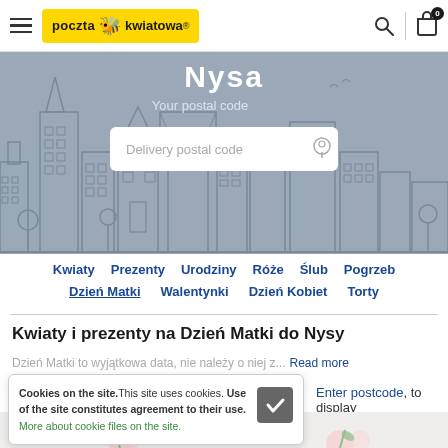[Figure (screenshot): Poczta Kwiatowa website header with hamburger menu, yellow logo, search and cart icons]
[Figure (illustration): Hero banner with city skyline illustration, title 'Nysa', subtitle 'Your postal code', and delivery postal code search input]
Kwiaty  Prezenty  Urodziny  Róże  Ślub  Pogrzeb
Dzień Matki  Walentynki  Dzień Kobiet  Torty
Kwiaty i prezenty na Dzień Matki do Nysy
Dzień Matki to wyjątkowa data, nie należy o niej z...  Read more
Enter postcode, to display
Cookies on the site. This site uses cookies. Use of the site constitutes agreement to their use. More about cookie files on the site.